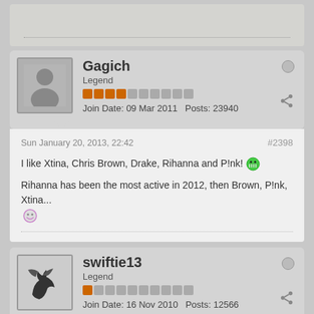[Figure (screenshot): Partial bottom of a previous forum post card, showing a dotted separator line]
Gagich
Legend
Join Date: 09 Mar 2011   Posts: 23940
Sun January 20, 2013, 22:42
#2398
I like Xtina, Chris Brown, Drake, Rihanna and P!nk! [emoji]
Rihanna has been the most active in 2012, then Brown, P!nk, Xtina... [emoji]
swiftie13
Legend
Join Date: 16 Nov 2010   Posts: 12566
Mon January 21, 2013, 20:44
#2399